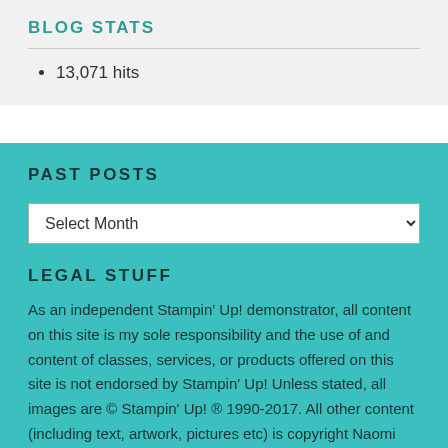BLOG STATS
13,071 hits
PAST POSTS
Select Month
LEGAL STUFF
As an independent Stampin' Up! demonstrator, all content on this site is my sole responsibility and the use of and content of classes, services, or products offered on this site is not endorsed by Stampin' Up! Unless stated, all images are © Stampin' Up! ® 1990-2017. All other content (including text, artwork, pictures etc) is copyright Naomi Connolly unless